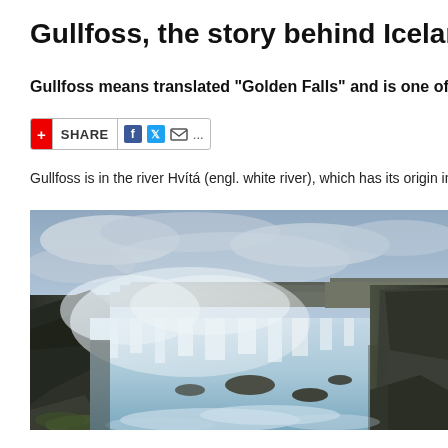Gullfoss, the story behind Iceland's most famous w
Gullfoss means translated "Golden Falls" and is one of Iceland's
[Figure (other): Share bar with red plus icon, SHARE text, Facebook, Twitter, email icons and dots]
Gullfoss is in the river Hvítá (engl. white river), which has its origin in the glacier lake H
[Figure (photo): Panoramic photograph of Gullfoss waterfall in Iceland showing powerful rushing water, mist, rocky cliffs and cloudy sky]